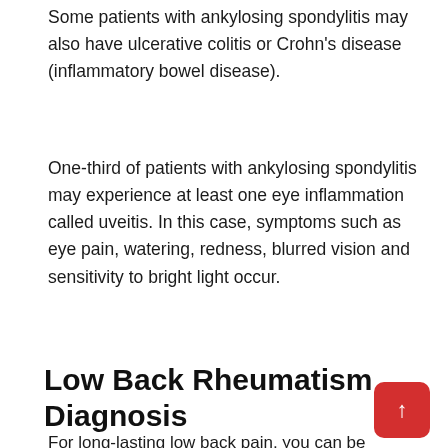Some patients with ankylosing spondylitis may also have ulcerative colitis or Crohn's disease (inflammatory bowel disease).
One-third of patients with ankylosing spondylitis may experience at least one eye inflammation called uveitis. In this case, symptoms such as eye pain, watering, redness, blurred vision and sensitivity to bright light occur.
Low Back Rheumatism Diagnosis
For long-lasting low back pain, you can be examined by a physical therapy and rehabilitation doctor. The doctor will first listen to your complaints and ask questions. It how long the pain has been, how it started, where it is felt, the factors that increase and decrease it. If he